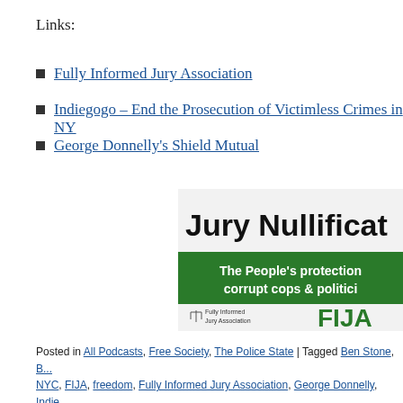Links:
Fully Informed Jury Association
Indiegogo – End the Prosecution of Victimless Crimes in NYC
George Donnelly's Shield Mutual
[Figure (illustration): FIJA banner: 'Jury Nullification' in bold black text, 'The People's protection against corrupt cops & politicians' in white text on green background, with Fully Informed Jury Association logo and 'FIJA' in green text on right.]
Posted in All Podcasts, Free Society, The Police State | Tagged Ben Ben Stone, B... NYC, FIJA, freedom, Fully Informed Jury Association, George Donnelly, Indie... Lackland died of dysentery, Julian Heicklan, King of England, liberty, Magna C...
0452 pc387 From Copypasta to Slave Hai...